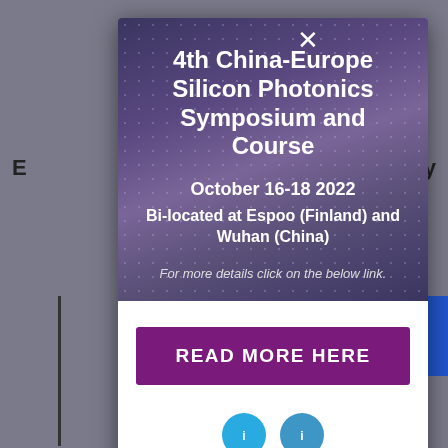[Figure (screenshot): Modal popup overlay on a website background. The modal contains a dark blue-purple silicon photonics image at the top with white text announcing the 4th China-Europe Silicon Photonics Symposium and Course, October 16-18 2022, Bi-located at Espoo (Finland) and Wuhan (China), with a call to click for more details. Below is a white section with a purple READ MORE HERE button and two teal social media icons.]